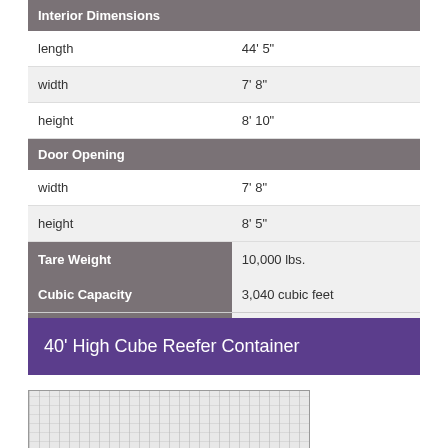| Interior Dimensions |  |
| --- | --- |
| length | 44' 5" |
| width | 7' 8" |
| height | 8' 10" |
| Door Opening |  |
| width | 7' 8" |
| height | 8' 5" |
| Tare Weight | 10,000 lbs. |
| Cubic Capacity | 3,040 cubic feet |
| Payload | 62,126 lbs. |
40' High Cube Reefer Container
[Figure (photo): Image of a 40' High Cube Reefer Container showing corrugated side panels]